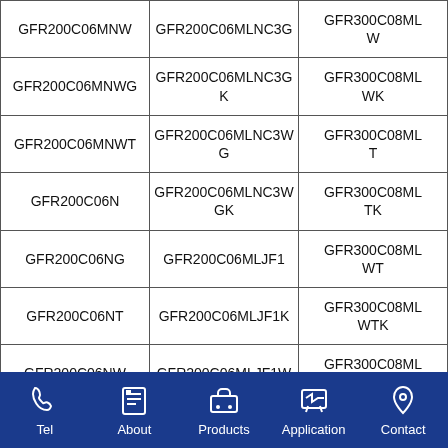| Col1 | Col2 | Col3 |
| --- | --- | --- |
| GFR200C06MNW | GFR200C06MLNC3G | GFR300C08MLW |
| GFR200C06MNWG | GFR200C06MLNC3GK | GFR300C08MLWK |
| GFR200C06MNWT | GFR200C06MLNC3WG | GFR300C08MLT |
| GFR200C06N | GFR200C06MLNC3WGK | GFR300C08MLTK |
| GFR200C06NG | GFR200C06MLJF1 | GFR300C08MLWT |
| GFR200C06NT | GFR200C06MLJF1K | GFR300C08MLWTK |
| GFR200C06NW | GFR200C06MLJF1W | GFR300C08MLG |
| GFR200C06NWG | GFR200C06MLJF1WK | GFR300C08MLGK |
| GFR200C06NWT | GFR200C06MLJF2T | GFR300C08ML |
Tel  About  Products  Application  Contact